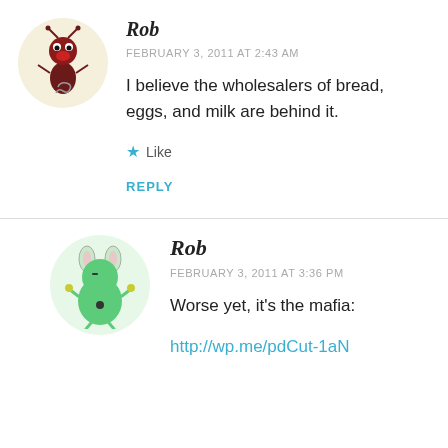[Figure (illustration): Circular avatar with cream/yellow background showing a cartoon bug/creature with red head and dark body]
Rob
FEBRUARY 3, 2011 AT 2:43 AM
I believe the wholesalers of bread, eggs, and milk are behind it.
★ Like
REPLY
[Figure (illustration): Circular avatar with light green background showing a cartoon green bunny/creature]
Rob
FEBRUARY 3, 2011 AT 3:36 PM
Worse yet, it's the mafia:
http://wp.me/pdCut-1aN